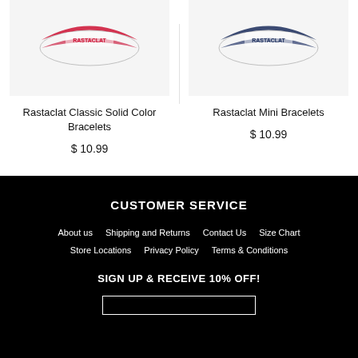[Figure (photo): Rastaclat Classic Solid Color Bracelets product image - red and white bracelet]
Rastaclat Classic Solid Color Bracelets
$ 10.99
[Figure (photo): Rastaclat Mini Bracelets product image - navy blue and white bracelet]
Rastaclat Mini Bracelets
$ 10.99
CUSTOMER SERVICE
About us
Shipping and Returns
Contact Us
Size Chart
Store Locations
Privacy Policy
Terms & Conditions
SIGN UP & RECEIVE 10% OFF!